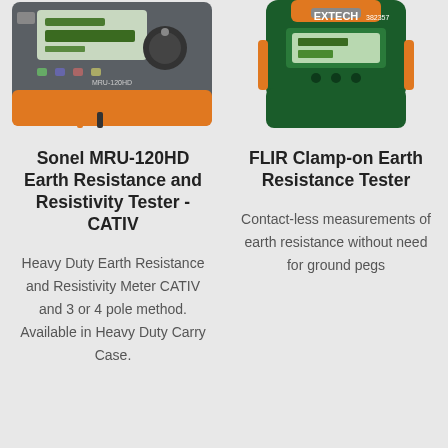[Figure (photo): Sonel MRU-120HD earth resistance and resistivity tester device, gray/orange, with display and dial controls]
[Figure (photo): FLIR Extech 382357 clamp-on earth resistance tester, green/orange clamp meter with EXTECH branding]
Sonel MRU-120HD Earth Resistance and Resistivity Tester - CATIV
Heavy Duty Earth Resistance and Resistivity Meter CATIV and 3 or 4 pole method. Available in Heavy Duty Carry Case.
FLIR Clamp-on Earth Resistance Tester
Contact-less measurements of earth resistance without need for ground pegs